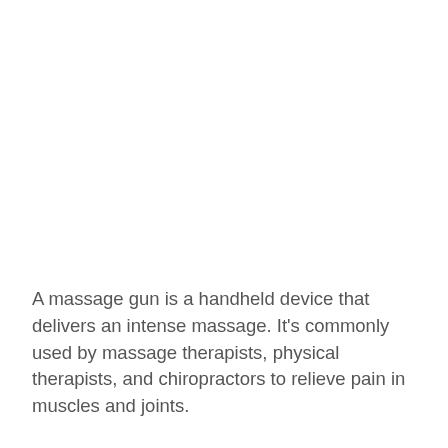A massage gun is a handheld device that delivers an intense massage. It's commonly used by massage therapists, physical therapists, and chiropractors to relieve pain in muscles and joints.